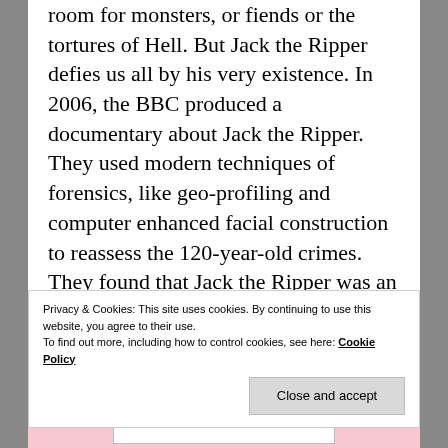room for monsters, or fiends or the tortures of Hell. But Jack the Ripper defies us all by his very existence. In 2006, the BBC produced a documentary about Jack the Ripper. They used modern techniques of forensics, like geo-profiling and computer enhanced facial construction to reassess the 120-year-old crimes. They found that Jack the Ripper was an ordinary fellow who probably lived on Flower and Dean Street. He probably worked at a menial job and drank his gin at one of the pubs. They even produced a face. But Jack the Ripper will have none of this. He has no
Privacy & Cookies: This site uses cookies. By continuing to use this website, you agree to their use. To find out more, including how to control cookies, see here: Cookie Policy